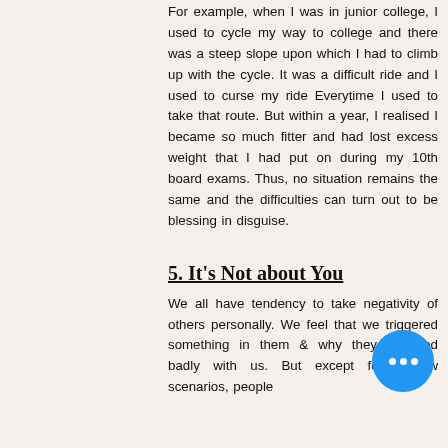For example, when I was in junior college, I used to cycle my way to college and there was a steep slope upon which I had to climb up with the cycle. It was a difficult ride and I used to curse my ride Everytime I used to take that route. But within a year, I realised I became so much fitter and had lost excess weight that I had put on during my 10th board exams. Thus, no situation remains the same and the difficulties can turn out to be blessing in disguise.
5. It's Not about You
We all have tendency to take negativity of others personally. We feel that we triggered something in them & why they behaved badly with us. But except for a few scenarios, people
[Figure (other): Blue circular button with three white dots (ellipsis/more options icon)]